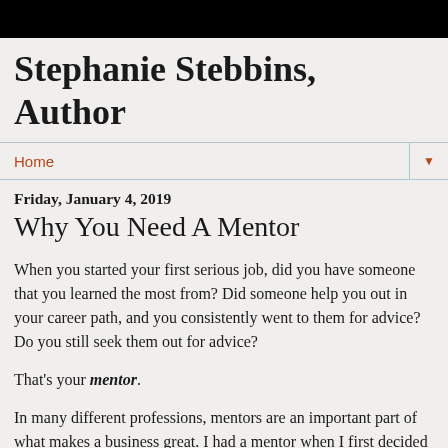Stephanie Stebbins, Author
Home
Friday, January 4, 2019
Why You Need A Mentor
When you started your first serious job, did you have someone that you learned the most from? Did someone help you out in your career path, and you consistently went to them for advice? Do you still seek them out for advice?
That's your mentor.
In many different professions, mentors are an important part of what makes a business great. I had a mentor when I first decided to quit law and get serious about my life and work. My mentor talked me into pursuing my writing, and helped